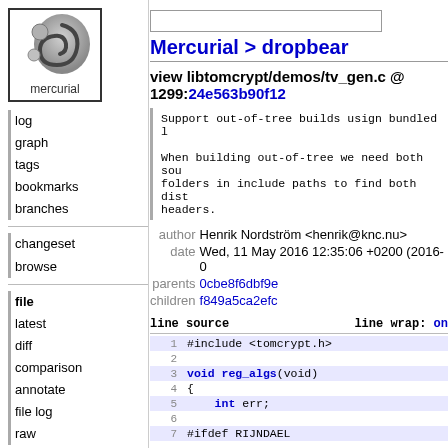[Figure (logo): Mercurial logo — grey swirl with circles in a square border, labeled 'mercurial']
log
graph
tags
bookmarks
branches
changeset
browse
file
latest
diff
comparison
annotate
file log
raw
Mercurial > dropbear
view libtomcrypt/demos/tv_gen.c @ 1299:24e563b90f12
Support out-of-tree builds usign bundled l
When building out-of-tree we need both sou folders in include paths to find both dist headers.
author Henrik Nordström <henrik@knc.nu>
date Wed, 11 May 2016 12:35:06 +0200 (2016-
parents 0cbe8f6dbf9e
children f849a5ca2efc
| line source | line wrap |
| --- | --- |
| 1 | #include <tomcrypt.h> |
| 2 |  |
| 3 | void reg_algs(void) |
| 4 | { |
| 5 |     int err; |
| 6 |  |
| 7 | #ifdef RIJNDAEL |